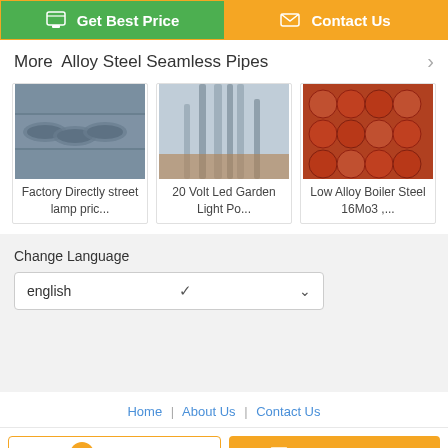[Figure (screenshot): Two buttons at top: green 'Get Best Price' and orange 'Contact Us']
More  Alloy Steel Seamless Pipes
[Figure (photo): Factory Directly street lamp pric...]
Factory Directly street lamp pric...
[Figure (photo): 20 Volt Led Garden Light Po...]
20 Volt Led Garden Light Po...
[Figure (photo): Low Alloy Boiler Steel 16Mo3 ,...]
Low Alloy Boiler Steel 16Mo3 ,...
Change Language
english
Home | About Us | Contact Us